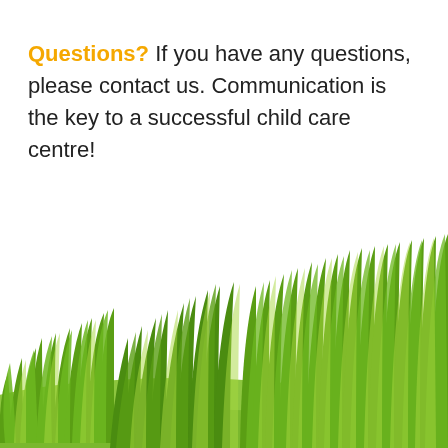Questions? If you have any questions, please contact us. Communication is the key to a successful child care centre!
[Figure (illustration): Decorative illustration of green grass at the bottom of the page, showing tall grass blades with a green rolling hill background.]